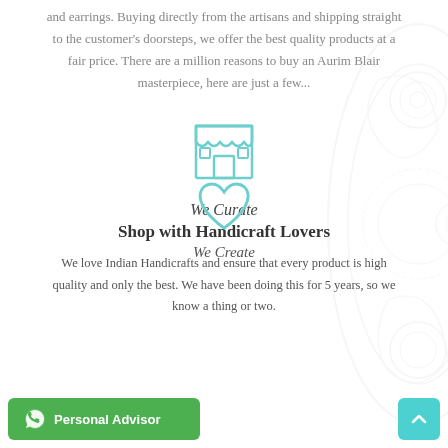and earrings. Buying directly from the artisans and shipping straight to the customer's doorsteps, we offer the best quality products at a fair price. There are a million reasons to buy an Aurim Blair masterpiece, here are just a few...
[Figure (illustration): Teal outline icon of a shop/storefront with awning and window]
We Curate
Shop with Handicraft Lovers
We love Indian Handicrafts and ensure that every product is high quality and only the best. We have been doing this for 5 years, so we know a thing or two.
[Figure (illustration): Teal outline icon of a heart]
We Create
[Figure (illustration): Decorative paisley/mandala watermark on right side of page]
[Figure (illustration): Green WhatsApp Personal Advisor button with WhatsApp logo icon]
[Figure (illustration): Teal scroll-to-top button with upward arrow]